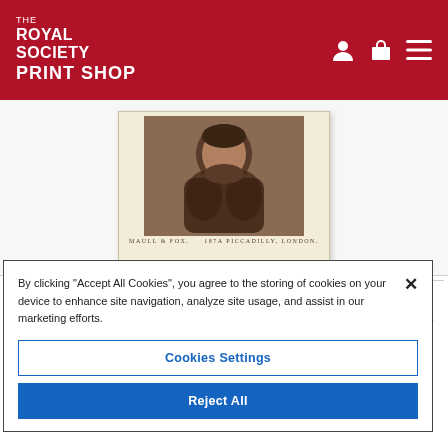THE ROYAL SOCIETY PRINT SHOP
[Figure (photo): Sepia-tone portrait photograph with caption 'MAULL & FOX, 187A PICCADILLY, LONDON.' on cream card mount, displayed in a website print shop.]
[Figure (photo): Small thumbnail of the same sepia portrait photograph.]
Fine art poster
By clicking "Accept All Cookies", you agree to the storing of cookies on your device to enhance site navigation, analyze site usage, and assist in our marketing efforts.
Cookies Settings
Reject All